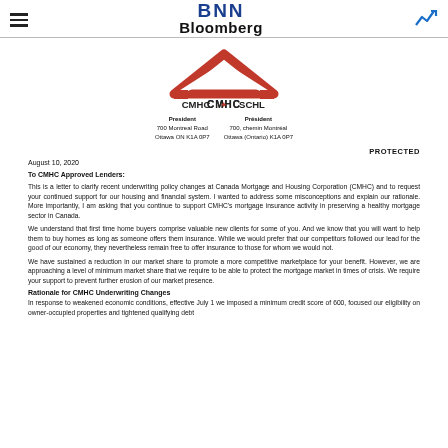BNN Bloomberg
[Figure (logo): CMHC SCHL logo with red chevron/roof shape above the text]
President
700 Montreal Road
Ottawa ON  K1A 0P7

Président
700, chemin Montréal
Ottawa (Ontario)  K1A 0P7
PROTECTED
August 10, 2020
To CMHC Approved Lenders:
This is a letter to clarify recent underwriting policy changes at Canada Mortgage and Housing Corporation (CMHC) and to request your continued support for our housing and financial system. I wanted to address some misconceptions and explain our rationale. More importantly, I am asking that you continue to support CMHC's mortgage insurance activity in preserving a healthy mortgage sector in Canada.
We understand that first time home buyers comprise valuable new clients for some of you. And we know that you will want to help them to buy homes as long as someone offers them insurance. While we would prefer that our competitors followed our lead for the good of our economy, they nevertheless remain free to offer insurance to those for whom we would not.
We have sustained a reduction in our market share to promote a more competitive marketplace for your benefit. However, we are approaching a level of minimum market share that we require to be able to protect the mortgage market in times of crisis. We require your support to prevent further erosion of our market presence.
Rationale for CMHC Underwriting Changes
In response to weakened economic conditions, effective July 1 we imposed a minimum credit score of 600, focused our eligibility on owner-occupied properties and tightened qualifying debt